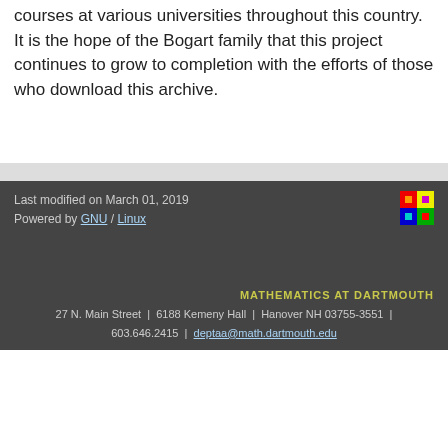courses at various universities throughout this country. It is the hope of the Bogart family that this project continues to grow to completion with the efforts of those who download this archive.
Last modified on March 01, 2019
Powered by GNU / Linux
MATHEMATICS AT DARTMOUTH
27 N. Main Street | 6188 Kemeny Hall | Hanover NH 03755-3551 | 603.646.2415 | deptaa@math.dartmouth.edu